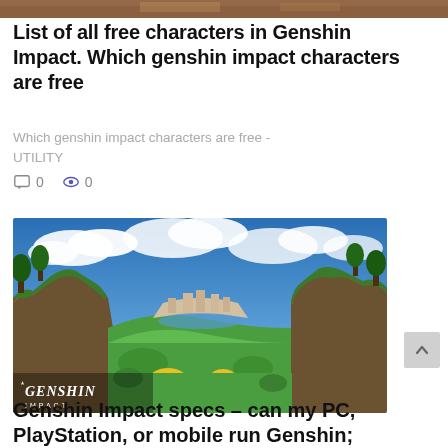[Figure (photo): Partial top edge of an image, appears to be a game scene with warm brown/orange tones]
List of all free characters in Genshin Impact. Which genshin impact characters are free
Which genshin impact characters are free - UTILITY
0   0
[Figure (illustration): Genshin Impact landscape artwork showing cliffs, a valley with a city, trees, yellow flowers, blue sky with clouds. Genshin Impact logo in lower left.]
Genshin Impact specs – can my PC, PlayStation, or mobile run Genshin;